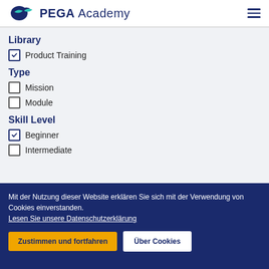PEGA Academy
Library
Product Training (checked)
Type
Mission (unchecked)
Module (unchecked)
Skill Level
Beginner (checked)
Intermediate (unchecked)
Mit der Nutzung dieser Website erklären Sie sich mit der Verwendung von Cookies einverstanden. Lesen Sie unsere Datenschutzerklärung
Zustimmen und fortfahren | Über Cookies